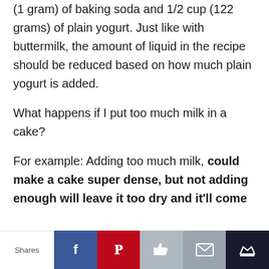(1 gram) of baking soda and 1/2 cup (122 grams) of plain yogurt. Just like with buttermilk, the amount of liquid in the recipe should be reduced based on how much plain yogurt is added.
What happens if I put too much milk in a cake?
For example: Adding too much milk, could make a cake super dense, but not adding enough will leave it too dry and it'll come
Shares | Facebook | Pinterest | Like | Email | Crown